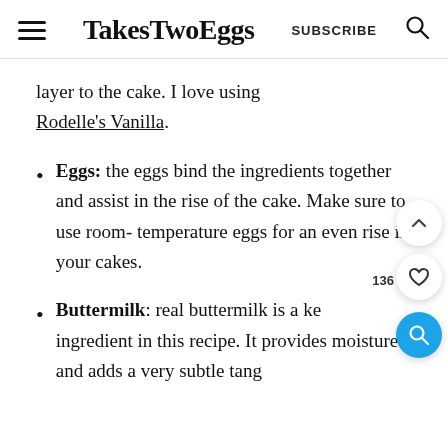TakesTwoEggs  SUBSCRIBE
layer to the cake. I love using Rodelle's Vanilla.
Eggs: the eggs bind the ingredients together and assist in the rise of the cake. Make sure to use room-temperature eggs for an even rise in your cakes.
Buttermilk: real buttermilk is a key ingredient in this recipe. It provides moisture and adds a very subtle tang